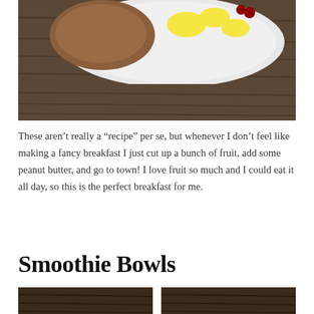[Figure (photo): Photo of a plate with sliced fruit and a pastry/bread item with peanut butter on a wooden table surface]
These aren't really a “recipe” per se, but whenever I don't feel like making a fancy breakfast I just cut up a bunch of fruit, add some peanut butter, and go to town! I love fruit so much and I could eat it all day, so this is the perfect breakfast for me.
Smoothie Bowls
[Figure (photo): Two partial photos of smoothie bowls visible at the bottom of the page]